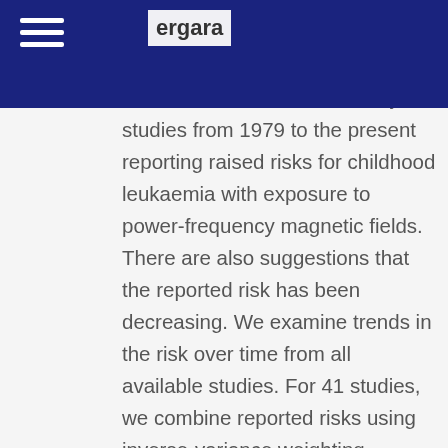ergara
bstract There have been many studies from 1979 to the present reporting raised risks for childhood leukaemia with exposure to power-frequency magnetic fields. There are also suggestions that the reported risk has been decreasing. We examine trends in the risk over time from all available studies. For 41 studies, we combine reported risks using inverse-variance weighting, drawing risk estimates from previous pooled analyses where possible for greater consistency. We examine the cumulative risk for studies published up to each successive calendar year for all studies and for various subsets, and test for a trend over the period. The cumulative relative risk has indeed declined, for our most rigorous analysis from a maximum 2.44 in 1997 to 1.50 in 2017, but not statistically...